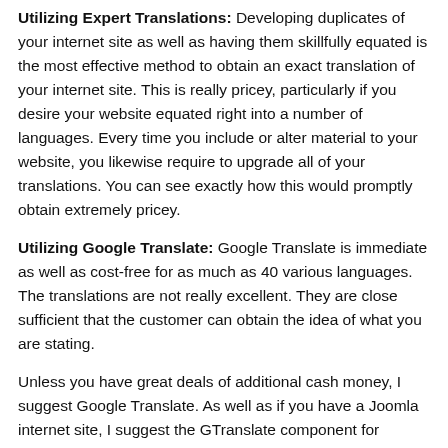Utilizing Expert Translations: Developing duplicates of your internet site as well as having them skillfully equated is the most effective method to obtain an exact translation of your internet site. This is really pricey, particularly if you desire your website equated right into a number of languages. Every time you include or alter material to your website, you likewise require to upgrade all of your translations. You can see exactly how this would promptly obtain extremely pricey.
Utilizing Google Translate: Google Translate is immediate as well as cost-free for as much as 40 various languages. The translations are not really excellent. They are close sufficient that the customer can obtain the idea of what you are stating.
Unless you have great deals of additional cash money, I suggest Google Translate. As well as if you have a Joomla internet site, I suggest the GTranslate component for Joomla. It's simple to take care of as well as mount.